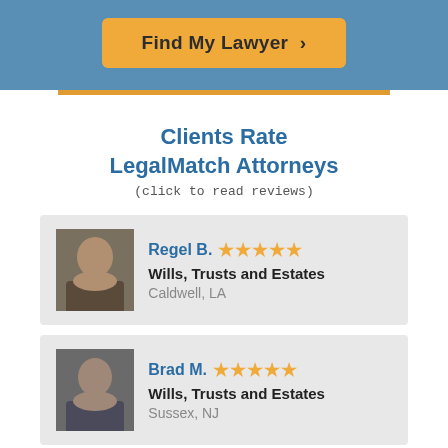[Figure (other): Find My Lawyer button on blue background]
Clients Rate LegalMatch Attorneys
(click to read reviews)
Regel B. ★★★★★ Wills, Trusts and Estates Caldwell, LA
Brad M. ★★★★★ Wills, Trusts and Estates Sussex, NJ